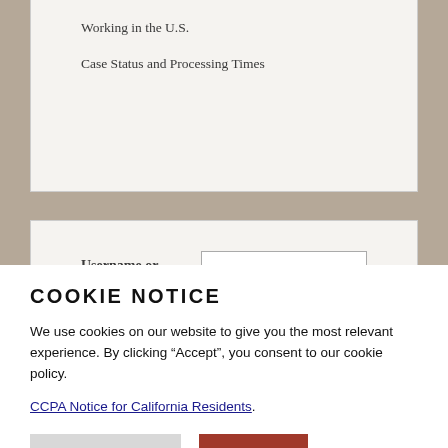Working in the U.S.
Case Status and Processing Times
Username or Email [input field]
Password [input field]
COOKIE NOTICE
We use cookies on our website to give you the most relevant experience. By clicking “Accept”, you consent to our cookie policy.
CCPA Notice for California Residents.
Cookie Settings
Accept